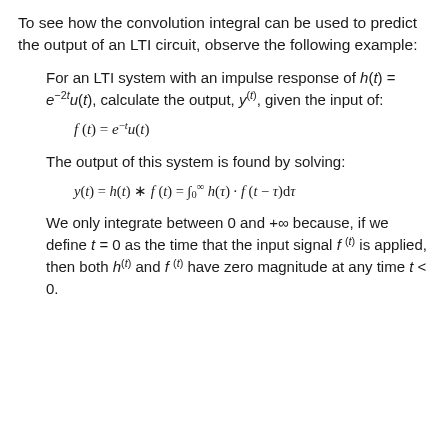To see how the convolution integral can be used to predict the output of an LTI circuit, observe the following example:
For an LTI system with an impulse response of h(t) = e^{-2t}u(t), calculate the output, y(t), given the input of:
The output of this system is found by solving:
We only integrate between 0 and +∞ because, if we define t = 0 as the time that the input signal f(t) is applied, then both h(t) and f(t) have zero magnitude at any time t < 0.